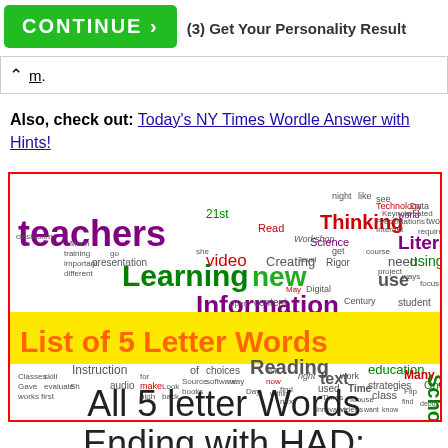CONTINUE  (3) Get Your Personality Result
m.
Also, check out: Today's NY Times Wordle Answer with Hints!
[Figure (infographic): Word cloud about education/teaching with words like teachers, Learning, Information, Literacy, Thinking, new, video, Creating, Reading, text, education, use, student, etc. A yellow banner overlay reads 'List of 5 Letter Words' in orange bold text.]
All 5 letter Words Ending with HAD: